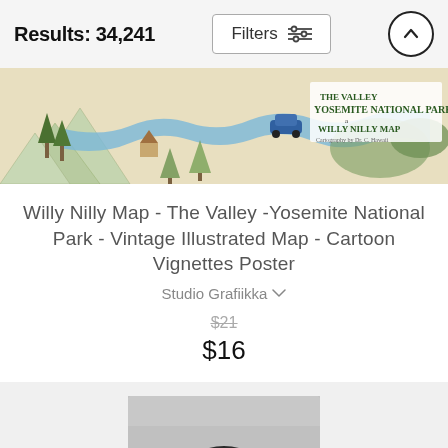Results: 34,241
Filters
[Figure (illustration): Vintage illustrated map of Yosemite National Park - Willy Nilly Map, cartoon style with blue river, mountains, trees, and decorative text.]
Willy Nilly Map - The Valley -Yosemite National Park - Vintage Illustrated Map - Cartoon Vignettes Poster
Studio Grafiikka
$21
$16
[Figure (photo): Black and white photograph of trees silhouetted against a grey sky, partial view.]